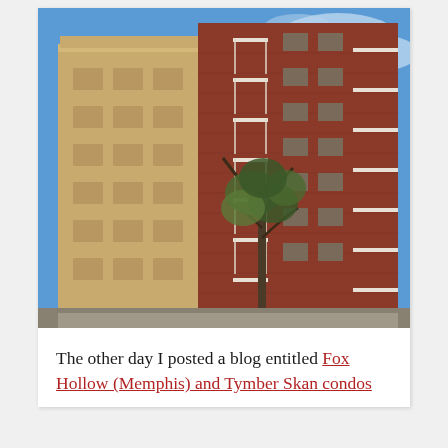[Figure (photo): Photograph of multi-story brick apartment/condo buildings with balconies against a blue sky, with a tree in the foreground. Left building is tan/beige brick; right building is red brick.]
The other day I posted a blog entitled Fox Hollow (Memphis) and Tymber Skan condos